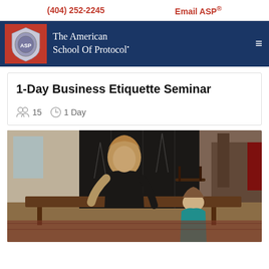(404) 252-2245    Email ASP®
[Figure (logo): The American School Of Protocol logo — shield emblem on red background, white text navigation bar with hamburger menu]
1-Day Business Etiquette Seminar
15   1 Day
[Figure (photo): A woman with blonde hair wearing a black top leaning over a wooden dining table working with a young girl in a teal top. Dark decorative folding screen in the background, wooden chairs, patterned rug visible.]